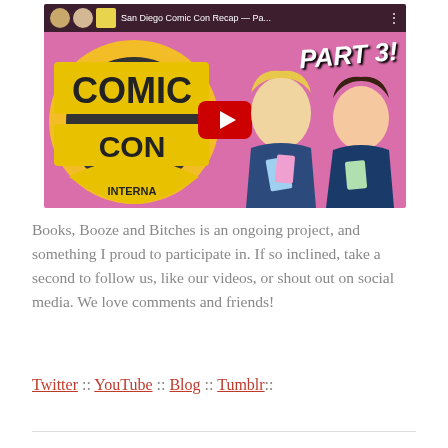[Figure (screenshot): YouTube video thumbnail for 'San Diego Comic Con Recap — Pa...' showing the Comic-Con International logo on a pink background with two women holding badges, a large red YouTube play button in the center, and 'PART 3!' text in the upper right.]
Books, Booze and Bitches is an ongoing project, and something I proud to participate in. If so inclined, take a second to follow us, like our videos, or shout out on social media. We love comments and friends!
Twitter :: YouTube :: Blog :: Tumblr::